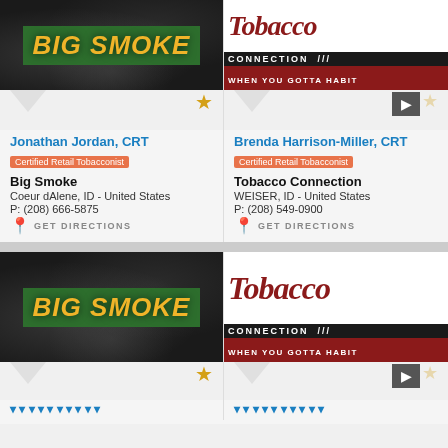[Figure (logo): Big Smoke store logo - dark background with smoky effect and golden italic text on green background]
[Figure (logo): Tobacco Connection logo - white background with dark red serif text, black CONNECTION bar, dark red WHEN YOU GOTTA HABIT bar]
Jonathan Jordan, CRT
Certified Retail Tobacconist
Big Smoke
Coeur dAlene, ID - United States
P: (208) 666-5875
GET DIRECTIONS
Brenda Harrison-Miller, CRT
Certified Retail Tobacconist
Tobacco Connection
WEISER, ID - United States
P: (208) 549-0900
GET DIRECTIONS
[Figure (logo): Big Smoke store logo - dark background with smoky effect and golden italic text on green background (second instance)]
[Figure (logo): Tobacco Connection logo - second instance]